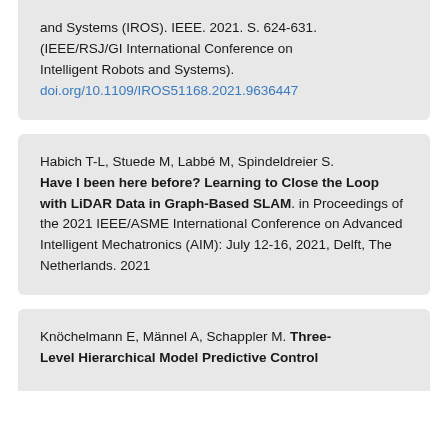and Systems (IROS). IEEE. 2021. S. 624-631. (IEEE/RSJ/GI International Conference on Intelligent Robots and Systems). doi.org/10.1109/IROS51168.2021.9636447
Habich T-L, Stuede M, Labbé M, Spindeldreier S. Have I been here before? Learning to Close the Loop with LiDAR Data in Graph-Based SLAM. in Proceedings of the 2021 IEEE/ASME International Conference on Advanced Intelligent Mechatronics (AIM): July 12-16, 2021, Delft, The Netherlands. 2021
Knöchelmann E, Männel A, Schappler M. Three-Level Hierarchical Model Predictive Control...